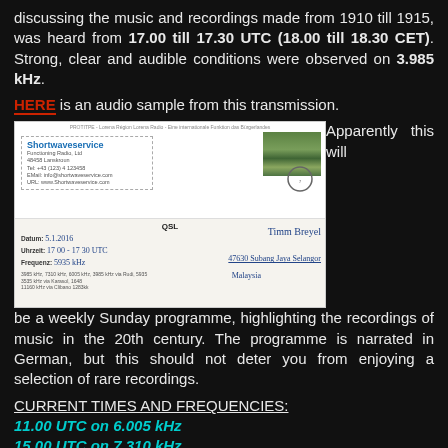discussing the music and recordings made from 1910 till 1915, was heard from 17.00 till 17.30 UTC (18.00 till 18.30 CET). Strong, clear and audible conditions were observed on 3.985 kHz.
HERE is an audio sample from this transmission.
[Figure (photo): QSL card from Shortwaveservice showing handwritten address to Timm Breyel, 47630 Subang Jaya Selangor Malaysia, with date 5.1.2016, time 17:00-17:30 UTC, frequency 5935 kHz]
Apparently this will be a weekly Sunday programme, highlighting the recordings of music in the 20th century. The programme is narrated in German, but this should not deter you from enjoying a selection of rare recordings.
CURRENT TIMES AND FREQUENCIES:
11.00 UTC on 6.005 kHz
15.00 UTC on 7.310 kHz